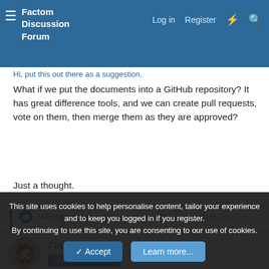Factom Discussion Forum | Log in | Register
Hi, put this out there as a suggestion.
What if we put the documents into a GitHub repository? It has great difference tools, and we can create pull requests, vote on them, then merge them as they are approved?
Just a thought.
Mike Miller, Anton Ilzheev, Miguel Proulx and 3 others
Fillip H.
Website Committee
May 20, 2020  Secured
This site uses cookies to help personalise content, tailor your experience and to keep you logged in if you register.
By continuing to use this site, you are consenting to our use of cookies.